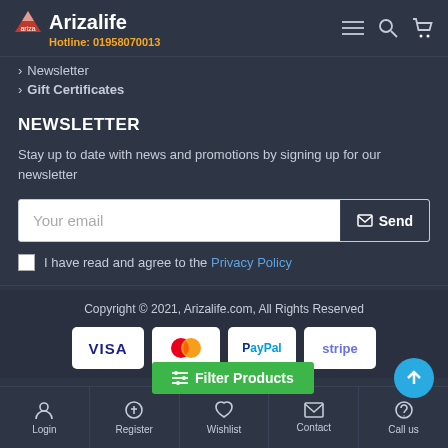Arizalife — Hotline: 01958070013
Newsletter
Gift Certificates
NEWSLETTER
Stay up to date with news and promotions by signing up for our newsletter
Your email [input] Send
I have read and agree to the Privacy Policy
Copyright © 2021, Arizalife.com, All Rights Reserved
[Figure (logo): Payment method logos: VISA, Mastercard, PayPal, Stripe]
[Figure (infographic): Filter Products button (green) and scroll-to-top button (blue circle with up arrow)]
Login | Register | Wishlist | Contact | Call us